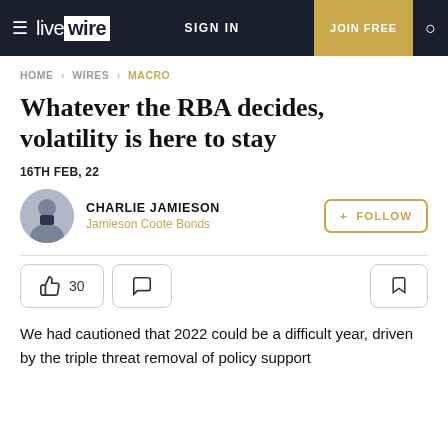≡ livewire | SIGN IN | JOIN FREE | 🔍
HOME > WIRES > MACRO
Whatever the RBA decides, volatility is here to stay
16TH FEB, 22
CHARLIE JAMIESON
Jamieson Coote Bonds
We had cautioned that 2022 could be a difficult year, driven by the triple threat removal of policy support